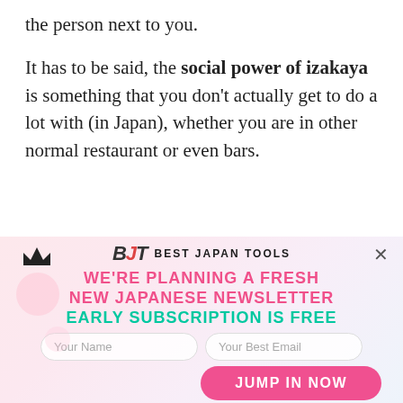the person next to you.
It has to be said, the social power of izakaya is something that you don't actually get to do a lot with (in Japan), whether you are in other normal restaurant or even bars.
[Figure (screenshot): Newsletter signup popup for Best Japan Tools website. Contains logo, promotional text 'WE'RE PLANNING A FRESH NEW JAPANESE NEWSLETTER EARLY SUBSCRIPTION IS FREE', input fields for Name and Email, and a pink 'JUMP IN NOW' button. Background has pink/purple gradient with decorative circles.]